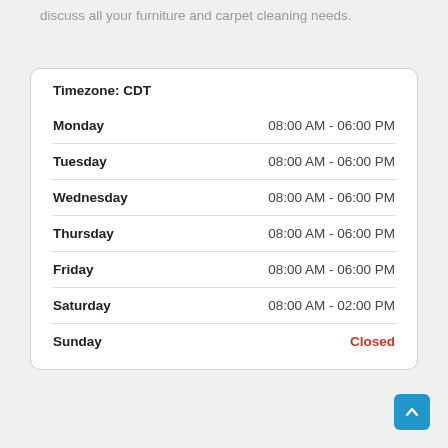discuss all your furniture and carpet cleaning needs.
| Day | Hours |
| --- | --- |
| Timezone: CDT |  |
| Monday | 08:00 AM - 06:00 PM |
| Tuesday | 08:00 AM - 06:00 PM |
| Wednesday | 08:00 AM - 06:00 PM |
| Thursday | 08:00 AM - 06:00 PM |
| Friday | 08:00 AM - 06:00 PM |
| Saturday | 08:00 AM - 02:00 PM |
| Sunday | Closed |